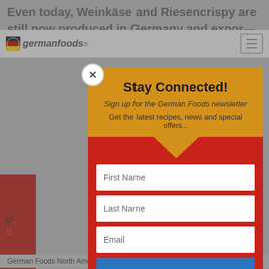[Figure (screenshot): A website popup modal on the GermanFoods website. The modal has an orange header section with 'Stay Connected!' title, a subtitle 'Sign up for the German Foods newsletter', and descriptive text. Below is a red section with form fields for First Name, Last Name, Email, and a blue 'YES, PLEASE!' submit button. A close (X) button is in the upper left of the modal. The background shows the GermanFoods website partially visible behind the modal overlay.]
Stay Connected!
Sign up for the German Foods newsletter
Get the latest recipes, news and special offers...
German Foods North America, is an independent blogger,